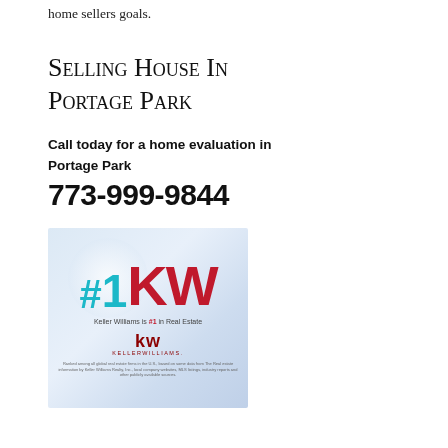home sellers goals.
Selling House In Portage Park
Call today for a home evaluation in Portage Park
773-999-9844
[Figure (logo): Keller Williams #1KW logo image with text 'Keller Williams is #1 in Real Estate' and the kw KELLERWILLIAMS. branding logo on a light blue gradient background.]
Portage Park Sellers Home | Selling A Home In Portage Park | Selling A House In Portage Park | Selling Your